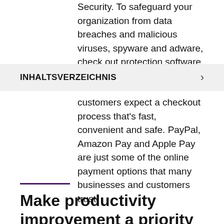Security. To safeguard your organization from data breaches and malicious viruses, spyware and adware, check out protection software like
INHALTSVERZEICHNIS
customers expect a checkout process that's fast, convenient and safe. PayPal, Amazon Pay and Apple Pay are just some of the online payment options that many businesses and customers trust.
Make productivity improvement a priority